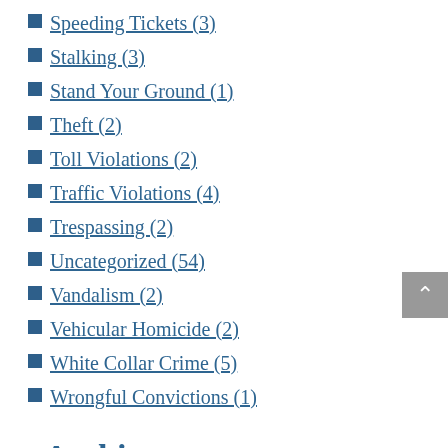Speeding Tickets (3)
Stalking (3)
Stand Your Ground (1)
Theft (2)
Toll Violations (2)
Traffic Violations (4)
Trespassing (2)
Uncategorized (54)
Vandalism (2)
Vehicular Homicide (2)
White Collar Crime (5)
Wrongful Convictions (1)
Archives
August 2022 (6)
July 2022 (7)